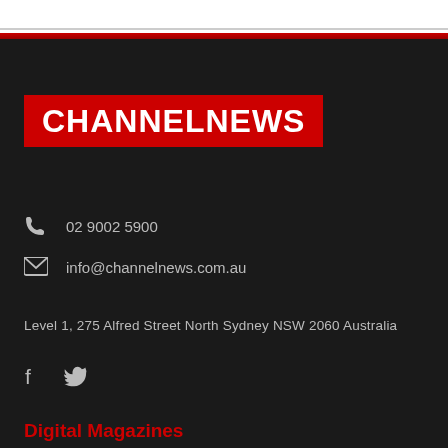[Figure (logo): ChannelNews logo — white bold uppercase text on red background]
02 9002 5900
info@channelnews.com.au
Level 1, 275 Alfred Street North Sydney NSW 2060 Australia
[Figure (other): Social media icons: Facebook and Twitter]
Digital Magazines